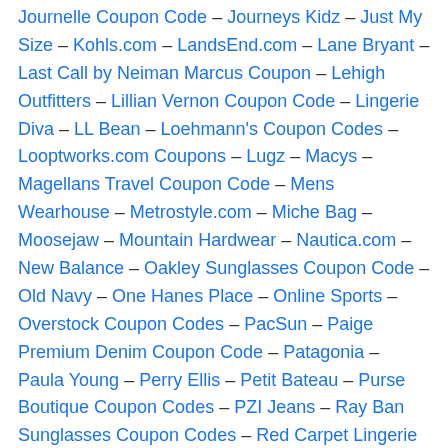Journelle Coupon Code – Journeys Kidz – Just My Size – Kohls.com – LandsEnd.com – Lane Bryant – Last Call by Neiman Marcus Coupon – Lehigh Outfitters – Lillian Vernon Coupon Code – Lingerie Diva – LL Bean – Loehmann's Coupon Codes – Looptworks.com Coupons – Lugz – Macys – Magellans Travel Coupon Code – Mens Wearhouse – Metrostyle.com – Miche Bag – Moosejaw – Mountain Hardwear – Nautica.com – New Balance – Oakley Sunglasses Coupon Code – Old Navy – One Hanes Place – Online Sports – Overstock Coupon Codes – PacSun – Paige Premium Denim Coupon Code – Patagonia – Paula Young – Perry Ellis – Petit Bateau – Purse Boutique Coupon Codes – PZI Jeans – Ray Ban Sunglasses Coupon Codes – Red Carpet Lingerie – Reebok – Roamans.com Coupon – Roots Direct Coupons – Run Green – Russell Athletic – RVCA – SKMenswear.com – Sam's Club – Sears Coupon Code – Sheplers Coupon Code